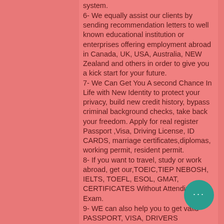system.
6- We equally assist our clients by sending recommendation letters to well known educational institution or enterprises offering employment abroad in Canada, UK, USA, Australia, NEW Zealand and others in order to give you a kick start for your future.
7- We Can Get You A second Chance In Life with New Identity to protect your privacy, build new credit history, bypass criminal background checks, take back your freedom. Apply for real register Passport ,Visa, Driving License, ID CARDS, marriage certificates,diplomas, working permit, resident permit.
8- If you want to travel, study or work abroad, get our,TOEIC,TIEP NEBOSH, IELTS, TOEFL, ESOL, GMAT, CERTIFICATES Without Attending Exam.
9- WE can also help you to get valid PASSPORT, VISA, DRIVERS LICENSE, RESIDENT PERMIT, ID CARD AND BIRTH CERTIFICATES.